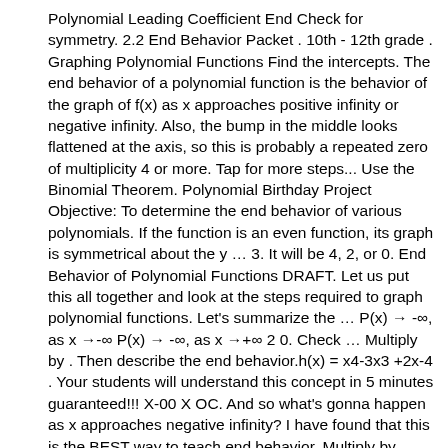Polynomial Leading Coefficient End Check for symmetry. 2.2 End Behavior Packet . 10th - 12th grade . Graphing Polynomial Functions Find the intercepts. The end behavior of a polynomial function is the behavior of the graph of f(x) as x approaches positive infinity or negative infinity. Also, the bump in the middle looks flattened at the axis, so this is probably a repeated zero of multiplicity 4 or more. Tap for more steps... Use the Binomial Theorem. Polynomial Birthday Project Objective: To determine the end behavior of various polynomials. If the function is an even function, its graph is symmetrical about the y … 3. It will be 4, 2, or 0. End Behavior of Polynomial Functions DRAFT. Let us put this all together and look at the steps required to graph polynomial functions. Let's summarize the … P(x) → -∞, as x →-∞ P(x) → -∞, as x →+∞ 2 0. Check … Multiply by . Then describe the end behavior.h(x) = x4-3x3 +2x-4 . Your students will understand this concept in 5 minutes guaranteed!!! X-00 X OC. And so what's gonna happen as x approaches negative infinity? I have found that this is the BEST way to teach end behavior. Multiply by . This quiz is incomplete! a year ago. U4 HW 1: End Behavior and Zeros of Polynomials DRAFT. Play this game to review Algebra II. If they do not, then ple. Linear functions and functions with odd degrees have opposite end behaviors. … To examine other polynomials and determine what occurs with various degrees and changing the sign of the term... The terms and the leading coefficient of each polynomial...